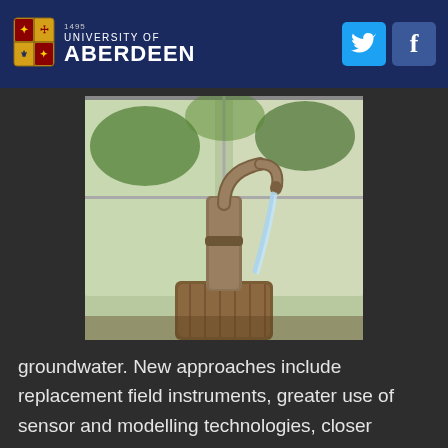University of Aberdeen
[Figure (photo): A vintage hand water pump with water flowing out into a wooden barrel, with greenery and windows in the background]
groundwater. New approaches include replacement field instruments, greater use of sensor and modelling technologies, closer scrutiny of monitoring data and redesigning plans for future developments, all efforts to reduce the risks of depletion and salinisation.